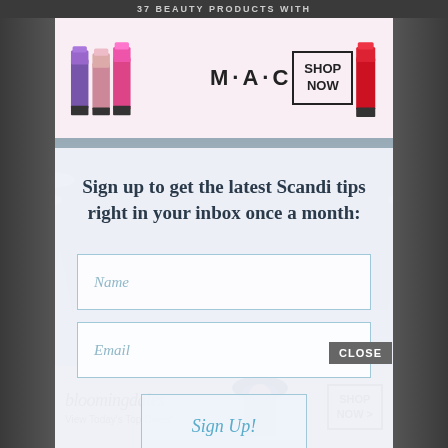[Figure (screenshot): Top dark navigation bar with partial text '37 BEAUTY PRODUCTS WITH']
[Figure (photo): MAC cosmetics advertisement banner with colorful lipsticks, MAC logo, and SHOP NOW box]
[Figure (screenshot): Winter snowy forest background scene visible on sides]
Sign up to get the latest Scandi tips right in your inbox once a month:
Name
Email
Sign Up!
CLOSE
[Figure (photo): Bloomingdales advertisement banner: 'bloomingdales - View Today's Top Deals!' with woman in hat and SHOP NOW > box]